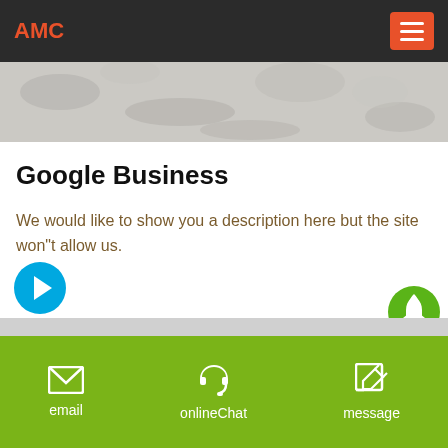AMC
[Figure (photo): Grayscale textured hero image banner (gravel/stone texture)]
Google Business
We would like to show you a description here but the site won"t allow us.
[Figure (other): Cyan circle with white right-arrow button]
[Figure (other): Green circle with white rocket icon button]
email   onlineChat   message